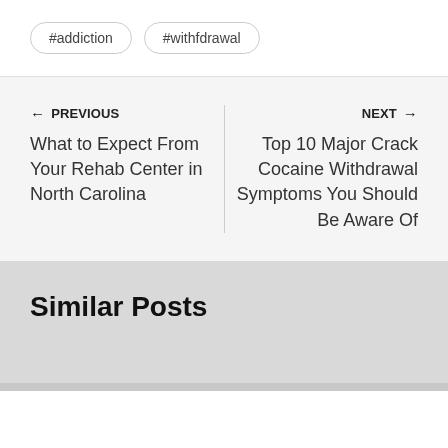#addiction
#withfdrawal
← PREVIOUS
What to Expect From Your Rehab Center in North Carolina
NEXT →
Top 10 Major Crack Cocaine Withdrawal Symptoms You Should Be Aware Of
Similar Posts